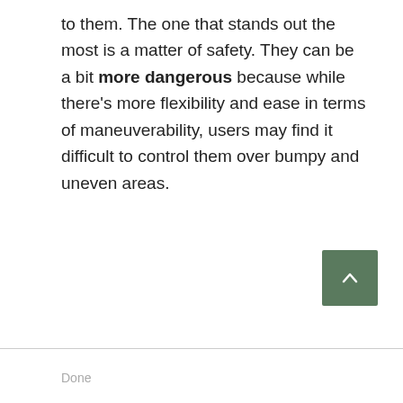to them. The one that stands out the most is a matter of safety. They can be a bit more dangerous because while there's more flexibility and ease in terms of maneuverability, users may find it difficult to control them over bumpy and uneven areas.
Done